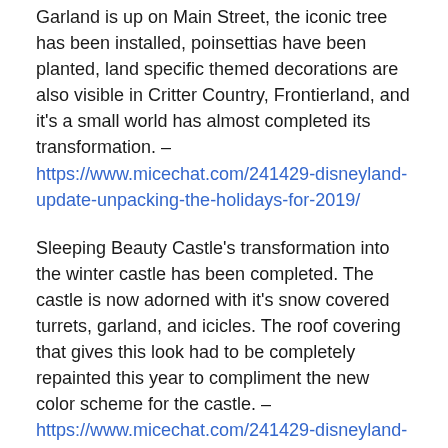Garland is up on Main Street, the iconic tree has been installed, poinsettias have been planted, land specific themed decorations are also visible in Critter Country, Frontierland, and it's a small world has almost completed its transformation. – https://www.micechat.com/241429-disneyland-update-unpacking-the-holidays-for-2019/
Sleeping Beauty Castle's transformation into the winter castle has been completed. The castle is now adorned with it's snow covered turrets, garland, and icicles. The roof covering that gives this look had to be completely repainted this year to compliment the new color scheme for the castle. – https://www.micechat.com/241429-disneyland-update-unpacking-the-holidays-for-2019/
To help deck the halls at Disneyland, two VIPs installed the tree topper on the Disneyland tree in Town Square. Chairman